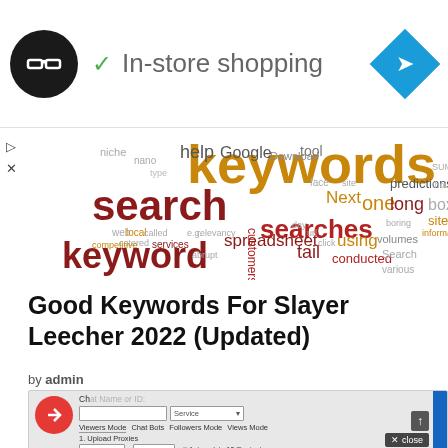[Figure (screenshot): Advertisement bar with a black circular logo with chain-link icon, a green checkmark, 'In-store shopping' text, and a blue diamond navigation icon on the right.]
[Figure (infographic): Word cloud featuring SEO/keyword related terms: keywords (large, gold), search (large, dark red), keyword (large, dark red), searches (medium, dark red), help, Google, tool, Next, one, long, box, predictions, spreadsheet, tail, using, site, etc.]
Good Keywords For Slayer Leecher 2022 (Updated)
by admin
3 years ago
[Figure (screenshot): Screenshot of Slayer Leecher application window showing a red circular icon with arrow, 'Chat Name or ID' label, a text input field, a 'Service' dropdown, tabs for Viewers Mode, Chat Bots, Followers Mode, Views Mode, '1. Upload Proxies' label, and dropdowns for 'Type proxies', 'Proxies', plus 'Autoupdate 10 minutes' option.]